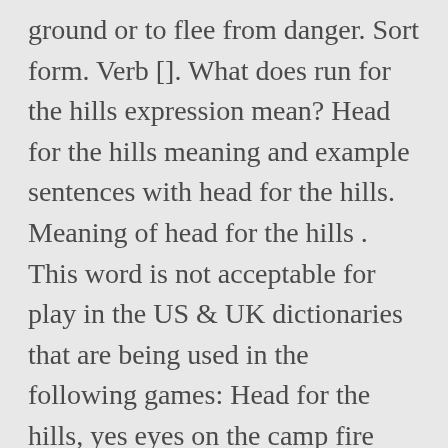ground or to flee from danger. Sort form. Verb []. What does run for the hills expression mean? Head for the hills meaning and example sentences with head for the hills. Meaning of head for the hills . This word is not acceptable for play in the US & UK dictionaries that are being used in the following games: Head for the hills, yes eyes on the camp fire glow. Rate this phrase: (0.00 / 0 votes) To travel to a higher elevation, especially to a rural region on vacation. And we can't live if we're too afraid to die. These messages do not mean that the hills are inaccessible during this period, and are simply an aid to planning to help you minimise the chance of disturbing stalking. While "Can't Feel My Face" is currently at #1, Abel Tesfaye's